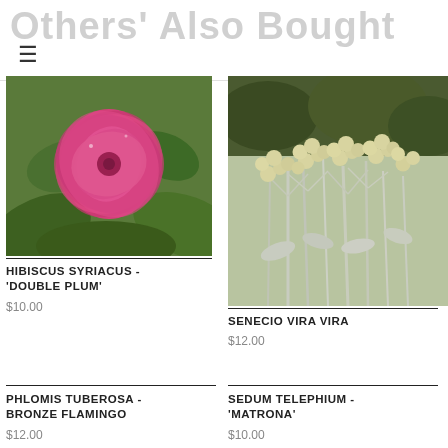Others' Also Bought
[Figure (photo): Pink double hibiscus flower with green leaves — Hibiscus Syriacus 'Double Plum']
HIBISCUS SYRIACUS - 'DOUBLE PLUM'
$10.00
[Figure (photo): Senecio vira vira silvery-white flowering plant with clusters of round flower buds]
SENECIO VIRA VIRA
$12.00
PHLOMIS TUBEROSA - BRONZE FLAMINGO
$12.00
SEDUM TELEPHIUM - 'MATRONA'
$10.00